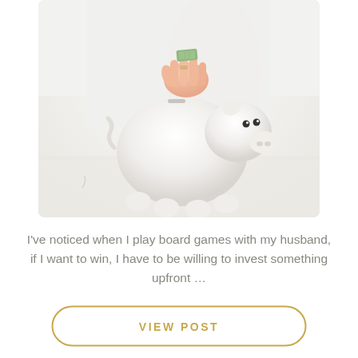[Figure (photo): A woman's hand inserting a dollar bill into a white ceramic piggy bank on a white surface, wearing a white shirt and a ring.]
I've noticed when I play board games with my husband, if I want to win, I have to be willing to invest something upfront …
VIEW POST